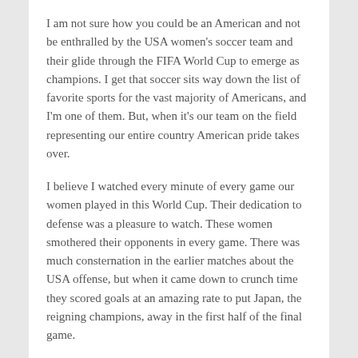I am not sure how you could be an American and not be enthralled by the USA women's soccer team and their glide through the FIFA World Cup to emerge as champions. I get that soccer sits way down the list of favorite sports for the vast majority of Americans, and I'm one of them. But, when it's our team on the field representing our entire country American pride takes over.
I believe I watched every minute of every game our women played in this World Cup. Their dedication to defense was a pleasure to watch. These women smothered their opponents in every game. There was much consternation in the earlier matches about the USA offense, but when it came down to crunch time they scored goals at an amazing rate to put Japan, the reigning champions, away in the first half of the final game.